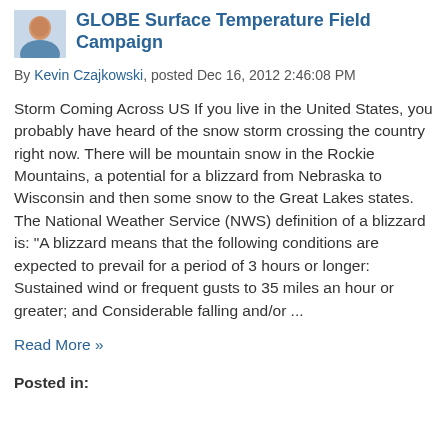GLOBE Surface Temperature Field Campaign
By Kevin Czajkowski, posted Dec 16, 2012 2:46:08 PM
Storm Coming Across US If you live in the United States, you probably have heard of the snow storm crossing the country right now. There will be mountain snow in the Rockie Mountains, a potential for a blizzard from Nebraska to Wisconsin and then some snow to the Great Lakes states. The National Weather Service (NWS) definition of a blizzard is: "A blizzard means that the following conditions are expected to prevail for a period of 3 hours or longer: Sustained wind or frequent gusts to 35 miles an hour or greater; and Considerable falling and/or ...
Read More »
Posted in: